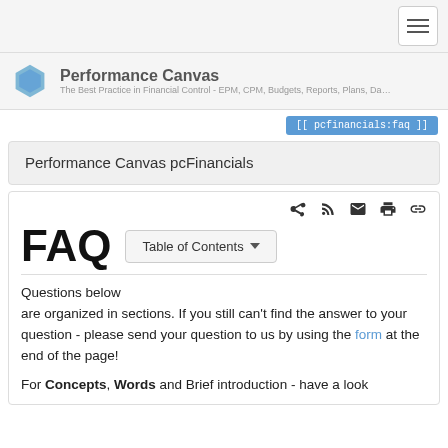Performance Canvas — The Best Practice in Financial Control - EPM, CPM, Budgets, Reports, Plans, Da…
[[ pcfinancials:faq ]]
Performance Canvas pcFinancials
FAQ
Questions below are organized in sections. If you still can't find the answer to your question - please send your question to us by using the form at the end of the page!
For Concepts, Words and Brief introduction - have a look